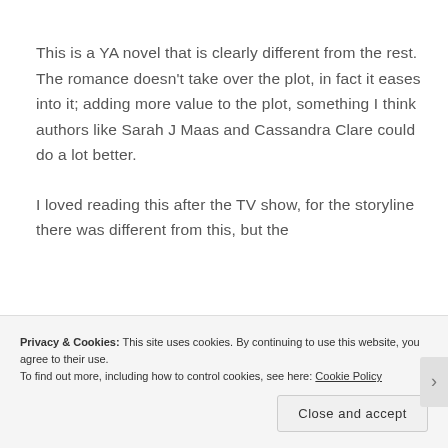This is a YA novel that is clearly different from the rest. The romance doesn't take over the plot, in fact it eases into it; adding more value to the plot, something I think authors like Sarah J Maas and Cassandra Clare could do a lot better.
I loved reading this after the TV show, for the storyline there was different from this, but the
Privacy & Cookies: This site uses cookies. By continuing to use this website, you agree to their use.
To find out more, including how to control cookies, see here: Cookie Policy
Close and accept